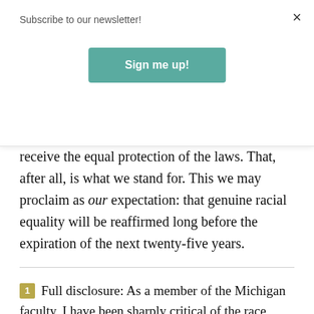Subscribe to our newsletter!
Sign me up!
receive the equal protection of the laws. That, after all, is what we stand for. This we may proclaim as our expectation: that genuine racial equality will be reaffirmed long before the expiration of the next twenty-five years.
1 Full disclosure: As a member of the Michigan faculty, I have been sharply critical of the race preferences we have given. In 2006, a Michigan constitutional amendment forbidding race preference in state